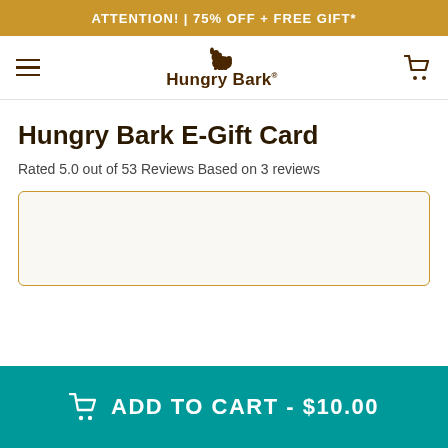ATTENTION! | 75% OFF + FREE GIFT*
[Figure (logo): Hungry Bark logo with dog icon and brand name]
Hungry Bark E-Gift Card
Rated 5.0 out of 53 Reviews Based on 3 reviews
[Figure (other): Product image placeholder box with golden border]
ADD TO CART - $10.00